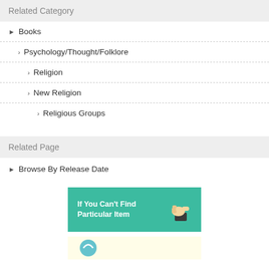Related Category
▶ Books
> Psychology/Thought/Folklore
> Religion
> New Religion
> Religious Groups
Related Page
▶ Browse By Release Date
[Figure (infographic): Teal banner with text 'If You Can't Find Particular Item' and a hand pointing right icon]
[Figure (infographic): Yellow/cream banner partially visible at bottom]